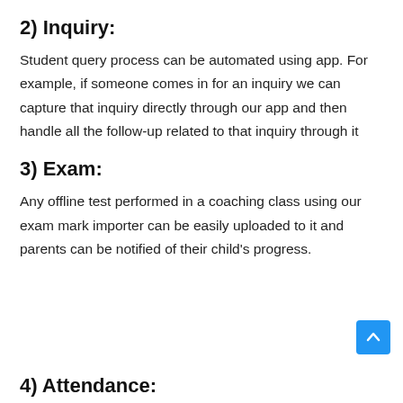2) Inquiry:
Student query process can be automated using app. For example, if someone comes in for an inquiry we can capture that inquiry directly through our app and then handle all the follow-up related to that inquiry through it
3) Exam:
Any offline test performed in a coaching class using our exam mark importer can be easily uploaded to it and parents can be notified of their child's progress.
4) Attendance: